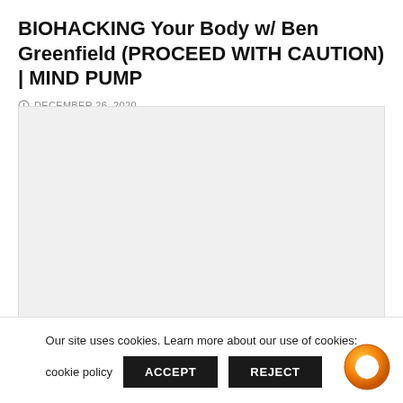BIOHACKING Your Body w/ Ben Greenfield (PROCEED WITH CAUTION) | MIND PUMP
DECEMBER 26, 2020
[Figure (other): Embedded media player placeholder (light grey rectangle)]
Our site uses cookies. Learn more about our use of cookies: cookie policy  ACCEPT  REJECT